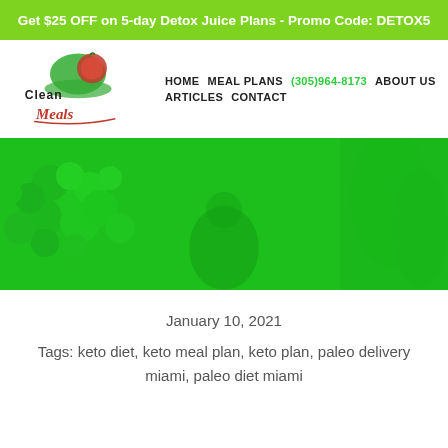Get $25 OFF on 5-day Detox Juice Plans - Promo Code: DETOX5
[Figure (logo): Clean Meals logo with chef hat and cursive text]
HOME   MEAL PLANS   (305)964-8173   ABOUT US   ARTICLES   CONTACT
[Figure (photo): Green-tinted photo of cauliflower and vegetables with a person in background]
January 10, 2021
Tags: keto diet, keto meal plan, keto plan, paleo delivery miami, paleo diet miami